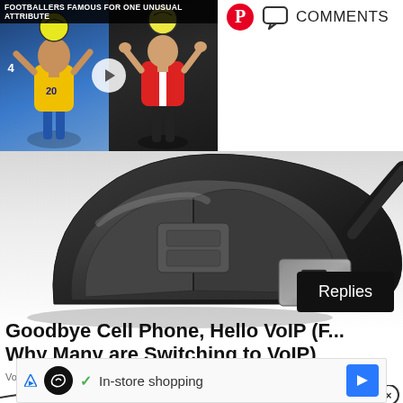[Figure (screenshot): Webpage screenshot showing a video thumbnail of footballers, a product image of a wireless mouse with USB dongle, a Replies button overlay, an ad title 'Goodbye Cell Phone, Hello VoIP (F... Why Many are Switching to VoIP)', source 'VoIP | Search Ads | Sponsored', Pinterest and Comments icons, and a bottom ad bar with 'In-store shopping']
Goodbye Cell Phone, Hello VoIP (F... Why Many are Switching to VoIP)
VoIP | Search Ads | Sponsored
In-store shopping